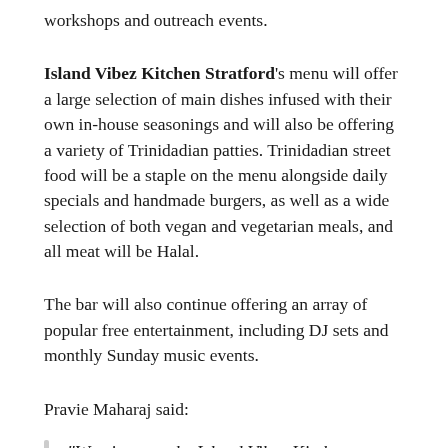workshops and outreach events.
Island Vibez Kitchen Stratford's menu will offer a large selection of main dishes infused with their own in-house seasonings and will also be offering a variety of Trinidadian patties. Trinidadian street food will be a staple on the menu alongside daily specials and handmade burgers, as well as a wide selection of both vegan and vegetarian meals, and all meat will be Halal.
The bar will also continue offering an array of popular free entertainment, including DJ sets and monthly Sunday music events.
Pravie Maharaj said:
“We aim to make Island Vibez Kitchen Stratford – which happens to be on an island in the centre of Stratford – the main destination in the area for great food and